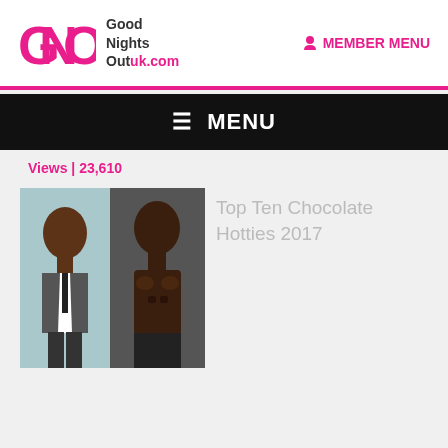GNO GoodNightsOutuk.com | MEMBER MENU
≡ MENU
Views | 23,610
[Figure (photo): Thumbnail image of two men: one in a suit vest on the left, one shirtless on the right]
Top Ten Chocolate Hotties 2017